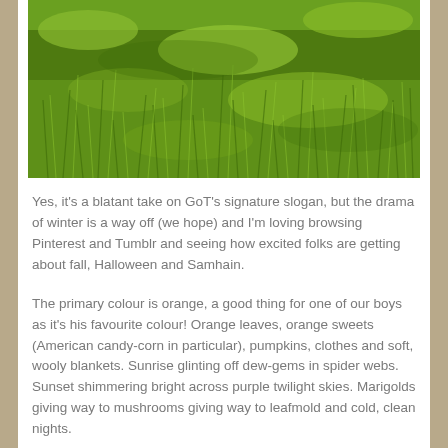[Figure (photo): Close-up photograph of green grass blades, lush and bright green, filling the entire image frame.]
Yes, it's a blatant take on GoT's signature slogan, but the drama of winter is a way off (we hope) and I'm loving browsing Pinterest and Tumblr and seeing how excited folks are getting about fall, Halloween and Samhain.
The primary colour is orange, a good thing for one of our boys as it's his favourite colour! Orange leaves, orange sweets (American candy-corn in particular), pumpkins, clothes and soft, wooly blankets. Sunrise glinting off dew-gems in spider webs. Sunset shimmering bright across purple twilight skies. Marigolds giving way to mushrooms giving way to leafmold and cold, clean nights.